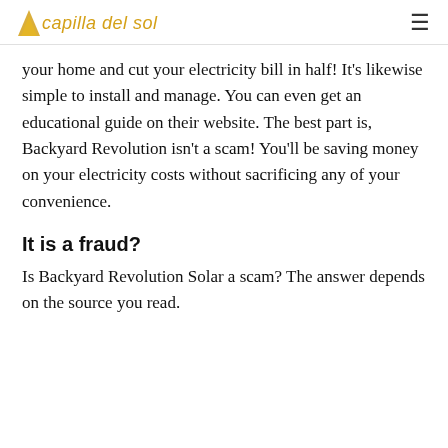capilla del sol
your home and cut your electricity bill in half! It's likewise simple to install and manage. You can even get an educational guide on their website. The best part is, Backyard Revolution isn't a scam! You'll be saving money on your electricity costs without sacrificing any of your convenience.
It is a fraud?
Is Backyard Revolution Solar a scam? The answer depends on the source you read.